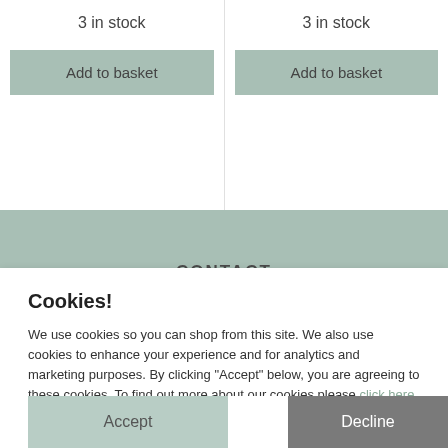3 in stock
Add to basket
3 in stock
Add to basket
CONTACT
Cookies!
We use cookies so you can shop from this site. We also use cookies to enhance your experience and for analytics and marketing purposes. By clicking "Accept" below, you are agreeing to these cookies. To find out more about our cookies please click here.
Accept
Decline